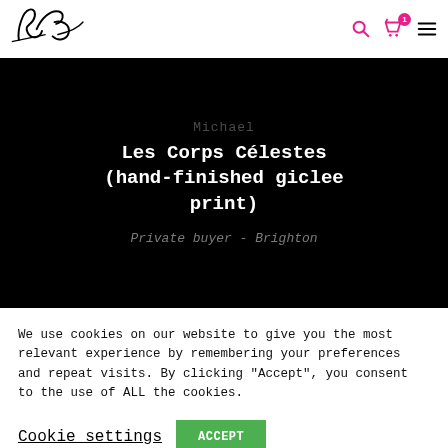[Figure (logo): Handwritten script logo initials 'Bdcl' or similar]
Les Corps Célestes (hand-finished giclee print)
Private buyer - Brighton
We use cookies on our website to give you the most relevant experience by remembering your preferences and repeat visits. By clicking “Accept”, you consent to the use of ALL the cookies.
Cookie settings
ACCEPT